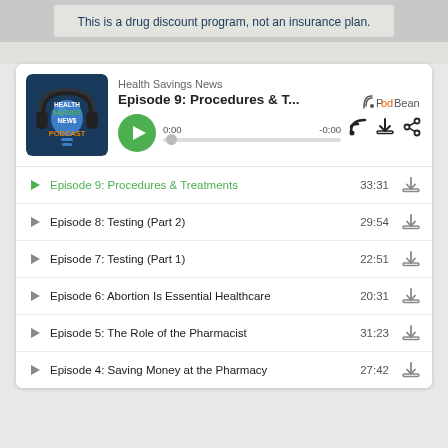This is a drug discount program, not an insurance plan.
[Figure (screenshot): Health Savings News Podcast player showing Episode 9: Procedures & T... with play button, progress bar at 0:00, PodBean logo, and episode list including Episodes 4-9 with durations]
Episode 9: Procedures & Treatments - 33:31
Episode 8: Testing (Part 2) - 29:54
Episode 7: Testing (Part 1) - 22:51
Episode 6: Abortion Is Essential Healthcare - 20:31
Episode 5: The Role of the Pharmacist - 31:23
Episode 4: Saving Money at the Pharmacy - 27:42